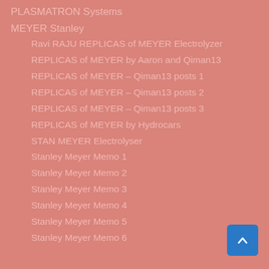PLASMATRON Systems
MEYER Stanley
Ravi RAJU REPLICAS of MEYER Electrolyzer
REPLICAS of MEYER by Aaron and Qiman13
REPLICAS of MEYER – Qiman13 posts 1
REPLICAS of MEYER – Qiman13 posts 2
REPLICAS of MEYER – Qiman13 posts 3
REPLICAS of MEYER by Hydrocars
STAN MEYER Electrolyser
Stanley Meyer Memo 1
Stanley Meyer Memo 2
Stanley Meyer Memo 3
Stanley Meyer Memo 4
Stanley Meyer Memo 5
Stanley Meyer Memo 6